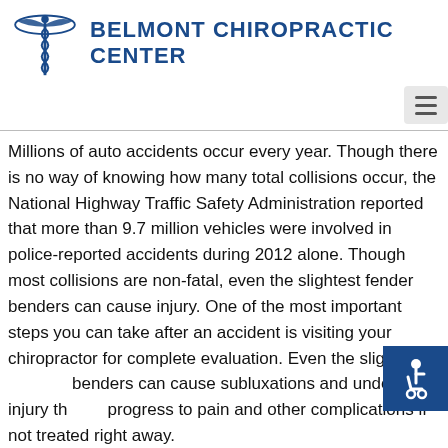[Figure (logo): Belmont Chiropractic Center logo with caduceus symbol and site title]
Millions of auto accidents occur every year. Though there is no way of knowing how many total collisions occur, the National Highway Traffic Safety Administration reported that more than 9.7 million vehicles were involved in police-reported accidents during 2012 alone. Though most collisions are non-fatal, even the slightest fender benders can cause injury. One of the most important steps you can take after an accident is visiting your chiropractor for complete evaluation. Even the slightest fender benders can cause subluxations and underlying injury that progress to pain and other complications if not treated right away.
Did you know...